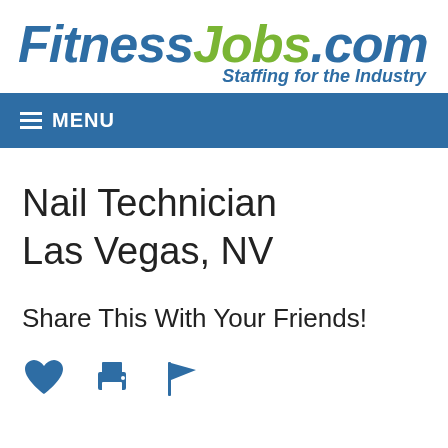FitnessJobs.com — Staffing for the Industry
☰ MENU
Nail Technician
Las Vegas, NV
Share This With Your Friends!
[Figure (infographic): Row of three icons: a heart icon, a printer icon, and a flag icon, all in blue.]